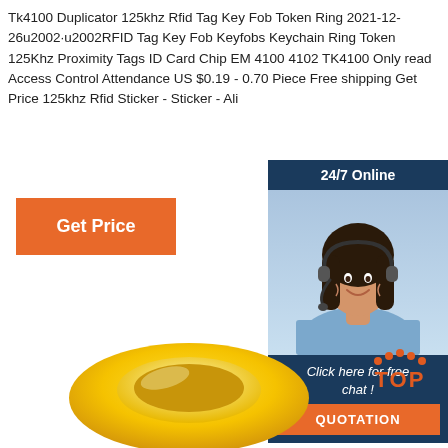Tk4100 Duplicator 125khz Rfid Tag Key Fob Token Ring 2021-12-26u2002·u2002RFID Tag Key Fob Keyfobs Keychain Ring Token 125Khz Proximity Tags ID Card Chip EM 4100 4102 TK4100 Only read Access Control Attendance US $0.19 - 0.70 Piece Free shipping Get Price 125khz Rfid Sticker - Sticker - Ali
[Figure (other): Orange 'Get Price' button]
[Figure (photo): Chat widget showing a woman with headset, '24/7 Online' header, 'Click here for free chat!' message, and orange 'QUOTATION' button on dark blue background]
[Figure (logo): Red/orange 'TOP' icon with dots above it]
[Figure (photo): Yellow RFID token ring product image at bottom of page]